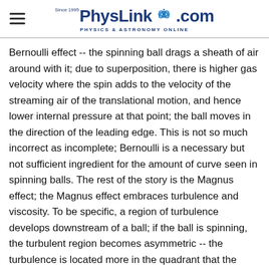PhysLink.com — Physics & Astronomy Online
Bernoulli effect -- the spinning ball drags a sheath of air around with it; due to superposition, there is higher gas velocity where the spin adds to the velocity of the streaming air of the translational motion, and hence lower internal pressure at that point; the ball moves in the direction of the leading edge. This is not so much incorrect as incomplete; Bernoulli is a necessary but not sufficient ingredient for the amount of curve seen in spinning balls. The rest of the story is the Magnus effect; the Magnus effect embraces turbulence and viscosity. To be specific, a region of turbulence develops downstream of a ball; if the ball is spinning, the turbulent region becomes asymmetric -- the turbulence is located more in the quadrant that the trailing edge points at; this quadrant experiences greater pressure and exerts a force